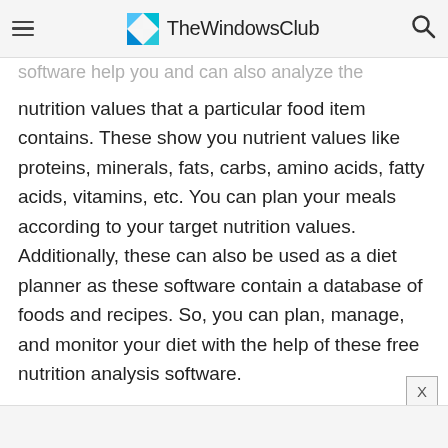TheWindowsClub
software help you and can also analyze the nutrition values that a particular food item contains. These show you nutrient values like proteins, minerals, fats, carbs, amino acids, fatty acids, vitamins, etc. You can plan your meals according to your target nutrition values. Additionally, these can also be used as a diet planner as these software contain a database of foods and recipes. So, you can plan, manage, and monitor your diet with the help of these free nutrition analysis software.